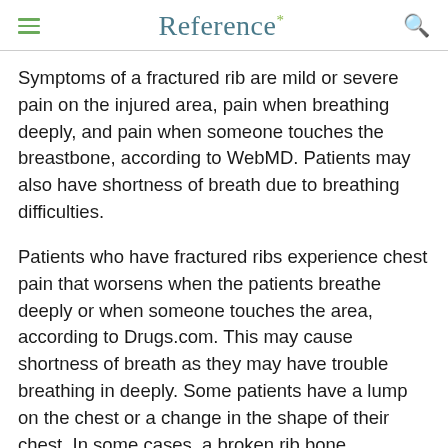Reference*
Symptoms of a fractured rib are mild or severe pain on the injured area, pain when breathing deeply, and pain when someone touches the breastbone, according to WebMD. Patients may also have shortness of breath due to breathing difficulties.
Patients who have fractured ribs experience chest pain that worsens when the patients breathe deeply or when someone touches the area, according to Drugs.com. This may cause shortness of breath as they may have trouble breathing in deeply. Some patients have a lump on the chest or a change in the shape of their chest. In some cases, a broken rib bone